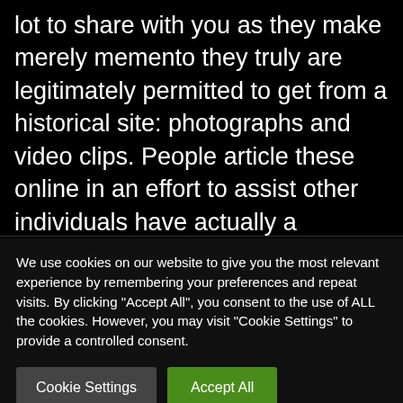lot to share with you as they make merely memento they truly are legitimately permitted to get from a historical site: photographs and video clips. People article these online in an effort to assist other individuals have actually a pleasurable knowledge, whatever their own experience amount is checking out ghost villages.
We use cookies on our website to give you the most relevant experience by remembering your preferences and repeat visits. By clicking "Accept All", you consent to the use of ALL the cookies. However, you may visit "Cookie Settings" to provide a controlled consent.